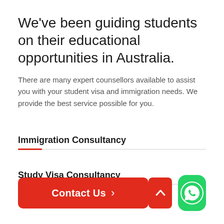We've been guiding students on their educational opportunities in Australia.
There are many expert counsellors available to assist you with your student visa and immigration needs. We provide the best service possible for you.
Immigration Consultancy
Study Visa Consultancy
Contact Us >